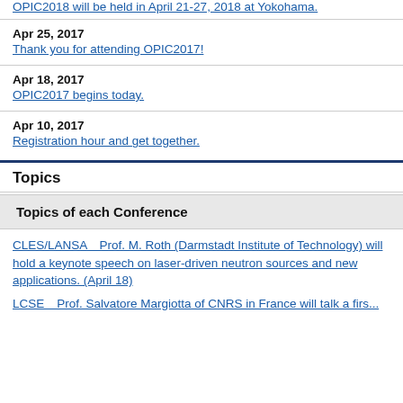OPIC2018 will be held in April 21-27, 2018 at Yokohama.
Apr 25, 2017
Thank you for attending OPIC2017!
Apr 18, 2017
OPIC2017 begins today.
Apr 10, 2017
Registration hour and get together.
Topics
Topics of each Conference
CLES/LANSA Prof. M. Roth (Darmstadt Institute of Technology) will hold a keynote speech on laser-driven neutron sources and new applications. (April 18)
LCSE Prof. Salvatore Margiotta of CNRS in France will talk a first...